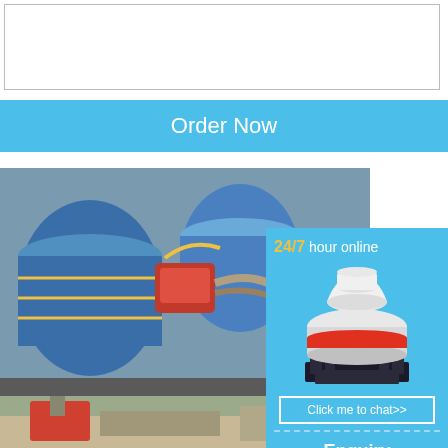(textarea / input box)
Order Now
[Figure (photo): Industrial roller mill machinery with large blue cylindrical drums, red motor housing, and yellow piping in a factory setting]
Roller Mill For Rocks India - uniqueevent roller mill for hard rocks coal russian - aruna... for hard rocks coal russianHome / Products... rocks india Posts Related to roller mill for ro... mill for grain.
Read More
[Figure (photo): Construction or mining site with equipment, partially visible at bottom of page]
[Figure (photo): Sidebar advertisement: cone crusher machine with 24/7 hour online text, Click me to chat>> button, Enquiry heading, and limingjlmofen text]
24/7 hour online
Click me to chat>>
Enquiry
limingjlmofen